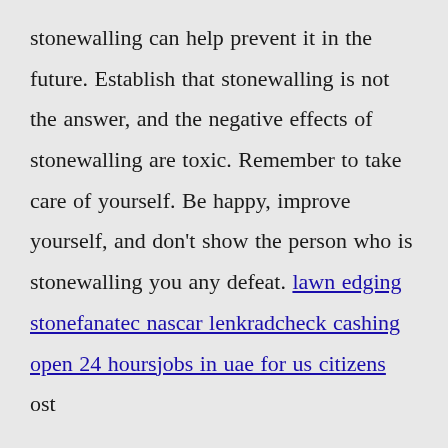stonewalling can help prevent it in the future. Establish that stonewalling is not the answer, and the negative effects of stonewalling are toxic. Remember to take care of yourself. Be happy, improve yourself, and don't show the person who is stonewalling you any defeat. lawn edging stonefanatec nascar lenkradcheck cashing open 24 hoursjobs in uae for us citizens ost